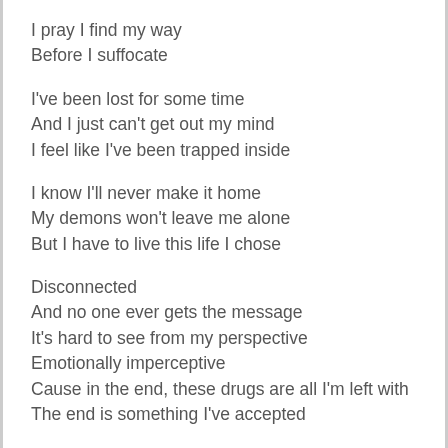I pray I find my way
Before I suffocate

I've been lost for some time
And I just can't get out my mind
I feel like I've been trapped inside

I know I'll never make it home
My demons won't leave me alone
But I have to live this life I chose

Disconnected
And no one ever gets the message
It's hard to see from my perspective
Emotionally imperceptive
Cause in the end, these drugs are all I'm left with
The end is something I've accepted